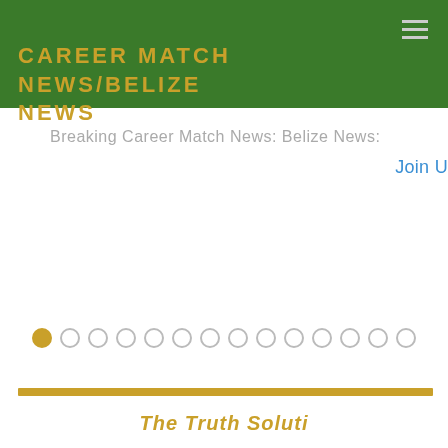CAREER MATCH NEWS/BELIZE NEWS
Breaking Career Match News: Belize News:
Join U
[Figure (other): Carousel navigation dots: one filled gold dot followed by 13 empty circle dots]
[Figure (other): Gold horizontal divider bar]
The Truth Soluti...